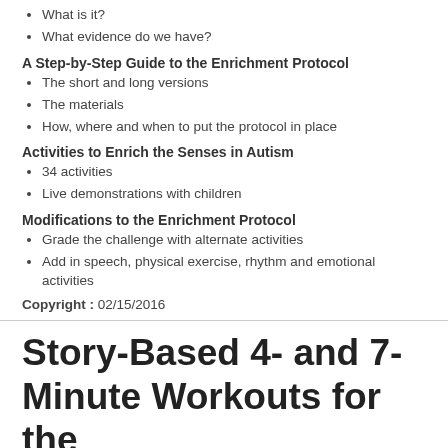What is it?
What evidence do we have?
A Step-by-Step Guide to the Enrichment Protocol
The short and long versions
The materials
How, where and when to put the protocol in place
Activities to Enrich the Senses in Autism
34 activities
Live demonstrations with children
Modifications to the Enrichment Protocol
Grade the challenge with alternate activities
Add in speech, physical exercise, rhythm and emotional activities
Copyright : 02/15/2016
Story-Based 4- and 7-Minute Workouts for the